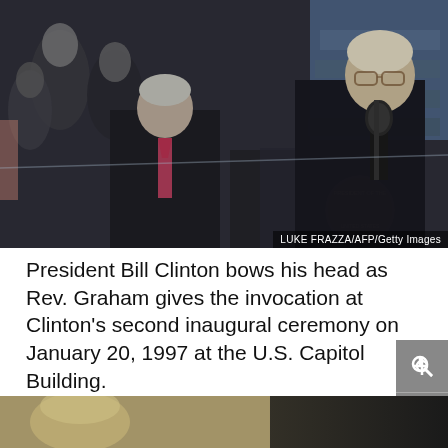[Figure (photo): President Bill Clinton bowing his head beside Rev. Billy Graham who is speaking at a podium with a presidential seal, at Clinton's second inaugural ceremony on January 20, 1997 at the U.S. Capitol Building. Photo credit: LUKE FRAZZA/AFP/Getty Images]
President Bill Clinton bows his head as Rev. Graham gives the invocation at Clinton's second inaugural ceremony on January 20, 1997 at the U.S. Capitol Building.
[Figure (photo): Partially visible bottom photo, cropped at page edge.]